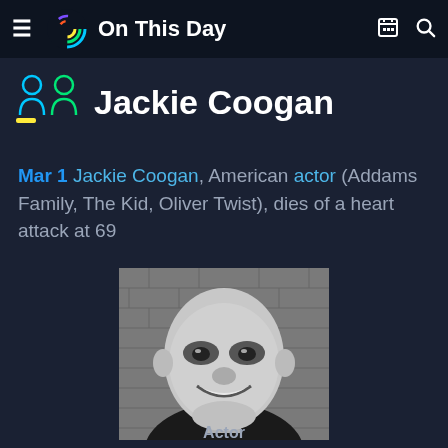On This Day
Jackie Coogan
Mar 1 Jackie Coogan, American actor (Addams Family, The Kid, Oliver Twist), dies of a heart attack at 69
[Figure (photo): Black and white portrait photograph of Jackie Coogan as Uncle Fester, bald man smiling, against a brick wall background]
Actor